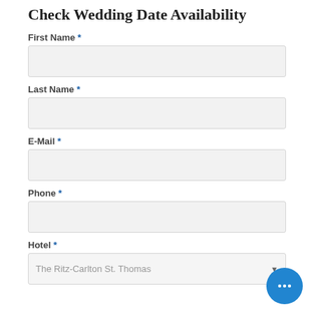Check Wedding Date Availability
First Name *
Last Name *
E-Mail *
Phone *
Hotel *
The Ritz-Carlton St. Thomas